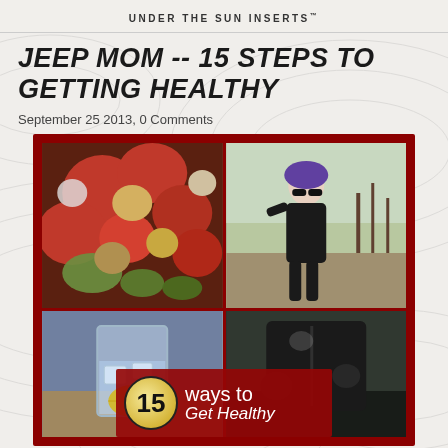UNDER THE SUN INSERTS
JEEP MOM -- 15 STEPS TO GETTING HEALTHY
September 25 2013, 0 Comments
[Figure (photo): Collage of health-related images: top-left shows colorful vegetables (red peppers, zucchini, mushrooms, onions), top-right shows a woman running outdoors wearing sunglasses and a hat, bottom-left shows a glass of water with lemon slices, bottom-right shows the woman running continuing. A red overlay badge reads '15 ways to Get Healthy'.]